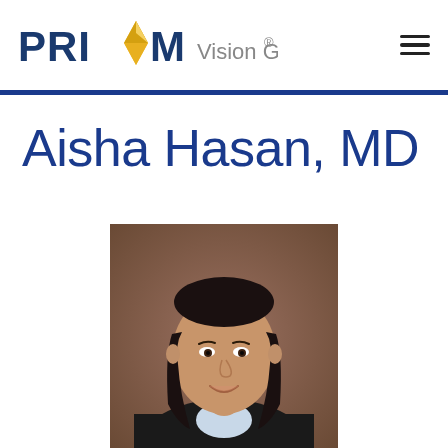[Figure (logo): PRISM Vision Group logo with diamond/kite shape icon in yellow and gold colors, followed by text 'PRISM Vision Group®']
Aisha Hasan, MD
[Figure (photo): Professional headshot photo of Dr. Aisha Hasan, a woman with long dark hair, smiling, wearing a dark blazer over a light-colored shirt, against a brown background]